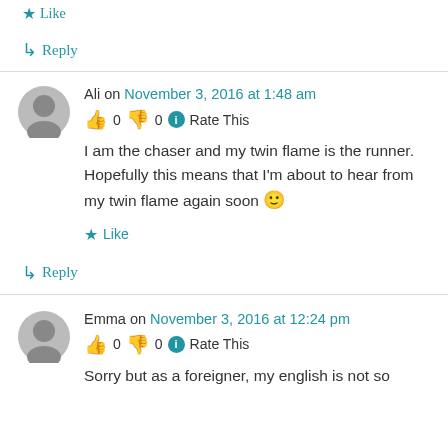★ Like
↳ Reply
Ali on November 3, 2016 at 1:48 am
👍 0 👎 0 ℹ Rate This
I am the chaser and my twin flame is the runner. Hopefully this means that I'm about to hear from my twin flame again soon 🙂
★ Like
↳ Reply
Emma on November 3, 2016 at 12:24 pm
👍 0 👎 0 ℹ Rate This
Sorry but as a foreigner, my english is not so